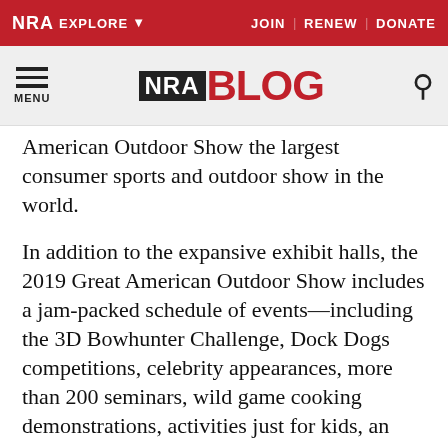NRA EXPLORE  JOIN | RENEW | DONATE
[Figure (logo): NRA BLOG logo with hamburger menu and search icon]
American Outdoor Show the largest consumer sports and outdoor show in the world.
In addition to the expansive exhibit halls, the 2019 Great American Outdoor Show includes a jam-packed schedule of events—including the 3D Bowhunter Challenge, Dock Dogs competitions, celebrity appearances, more than 200 seminars, wild game cooking demonstrations, activities just for kids, an NRA Country concert and much more.
Regular adult admission is only $14. Special rates apply